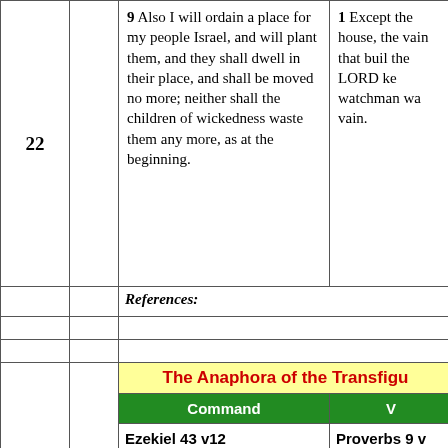| # |  | Text | Right Column |
| --- | --- | --- | --- |
| 22 |  | 9  Also I will ordain a place for my people Israel, and will plant them, and they shall dwell in their place, and shall be moved no more; neither shall the children of wickedness waste them any more, as at the beginning. | 1  Except the house, the vain that buil the LORD ke watchman wa vain. |
|  |  | References: |  |
|  |  | (empty) |  |
|  |  | (empty) |  |
|  |  | The Anaphora of the Transfigu |  |
|  |  | Command | V |
|  |  | Ezekiel 43 v12 | Proverbs 9 v |